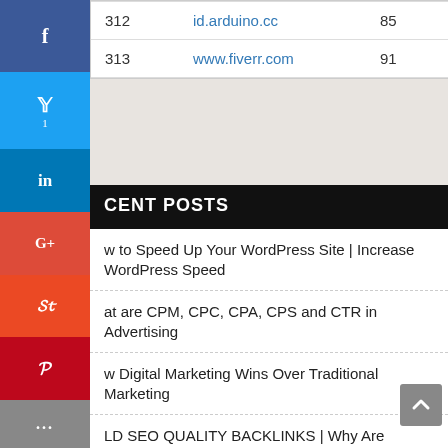| # | URL | Score |
| --- | --- | --- |
| 312 | id.arduino.cc | 85 |
| 313 | www.fiverr.com | 91 |
RECENT POSTS
How to Speed Up Your WordPress Site | Increase WordPress Speed
What are CPM, CPC, CPA, CPS and CTR in Advertising
Why Digital Marketing Wins Over Traditional Marketing
BUILD SEO QUALITY BACKLINKS | Why Are Backlinks Important?
Top 10 Social Sharing Plugin for Website